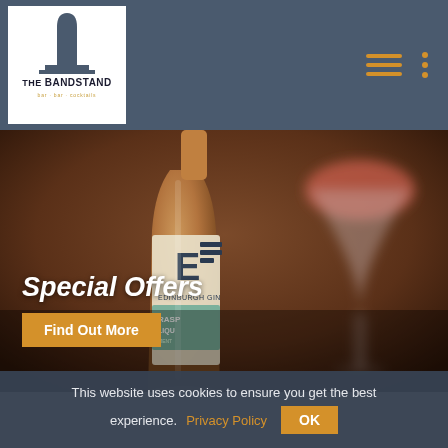THE BANDSTAND
[Figure (photo): Close-up photo of an Edinburgh Gin Raspberry Liqueur bottle with a cocktail glass blurred in the background, warm amber/pink tones]
Special Offers
Find Out More
This website uses cookies to ensure you get the best experience. Privacy Policy  OK